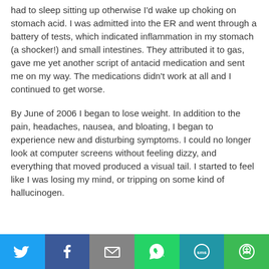had to sleep sitting up otherwise I'd wake up choking on stomach acid. I was admitted into the ER and went through a battery of tests, which indicated inflammation in my stomach (a shocker!) and small intestines. They attributed it to gas, gave me yet another script of antacid medication and sent me on my way. The medications didn't work at all and I continued to get worse.
By June of 2006 I began to lose weight. In addition to the pain, headaches, nausea, and bloating, I began to experience new and disturbing symptoms. I could no longer look at computer screens without feeling dizzy, and everything that moved produced a visual tail. I started to feel like I was losing my mind, or tripping on some kind of hallucinogen.
[Figure (other): Social sharing bar with Twitter, Facebook, Email, WhatsApp, SMS, and More buttons]